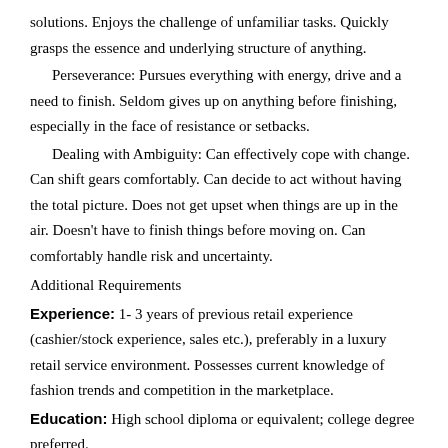solutions. Enjoys the challenge of unfamiliar tasks. Quickly grasps the essence and underlying structure of anything.
Perseverance: Pursues everything with energy, drive and a need to finish. Seldom gives up on anything before finishing, especially in the face of resistance or setbacks.
Dealing with Ambiguity: Can effectively cope with change. Can shift gears comfortably. Can decide to act without having the total picture. Does not get upset when things are up in the air. Doesn't have to finish things before moving on. Can comfortably handle risk and uncertainty.
Additional Requirements
Experience: 1- 3 years of previous retail experience (cashier/stock experience, sales etc.), preferably in a luxury retail service environment. Possesses current knowledge of fashion trends and competition in the marketplace.
Education: High school diploma or equivalent; college degree preferred.
Technical: Knowledge of cash register systems, basic computer skills (including the ability to use iPad/laptop, Mobile POS and Internet), utilize